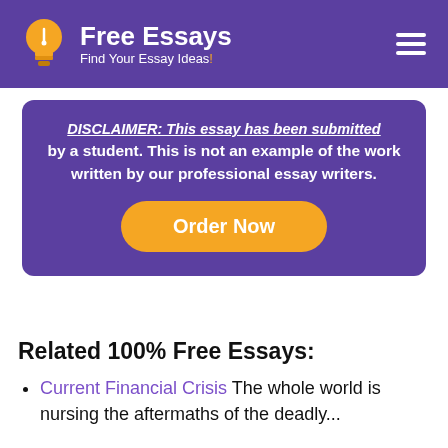Free Essays – Find Your Essay Ideas!
DISCLAIMER: This essay has been submitted by a student. This is not an example of the work written by our professional essay writers.
Order Now
Related 100% Free Essays:
Current Financial Crisis The whole world is nursing the aftermaths of the deadly...